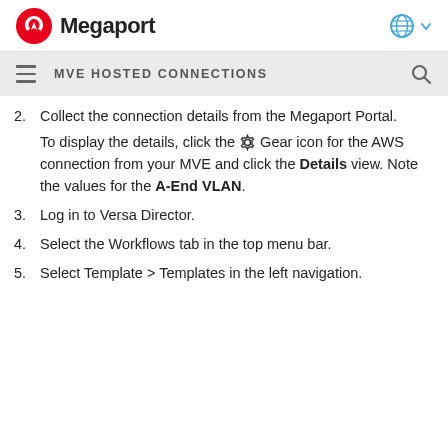Megaport
MVE HOSTED CONNECTIONS
2. Collect the connection details from the Megaport Portal.
To display the details, click the Gear icon for the AWS connection from your MVE and click the Details view. Note the values for the A-End VLAN.
3. Log in to Versa Director.
4. Select the Workflows tab in the top menu bar.
5. Select Template > Templates in the left navigation.